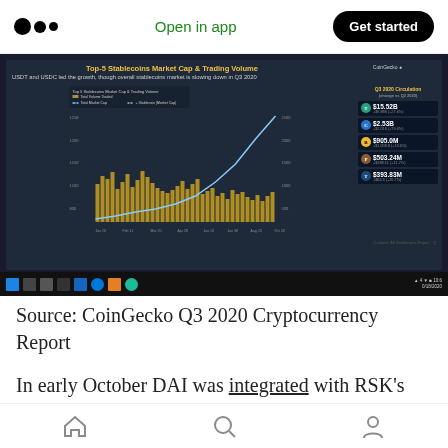Open in app | Get started
[Figure (screenshot): Screenshot of CoinGecko Q3 2020 report showing Top-5 Stablecoins Market Cap & Trading Volume chart. USDT shows $15.52B, USDC $2.53B, BUSD $905.0M, PAX $503.24M, TUSD $393.83M. Combined bar and line chart showing trading volume and market cap from Jan 2020 to Oct 2020.]
Source: CoinGecko Q3 2020 Cryptocurrency Report
In early October DAI was integrated with RSK's Ethereum Token bridge fostering interoperability